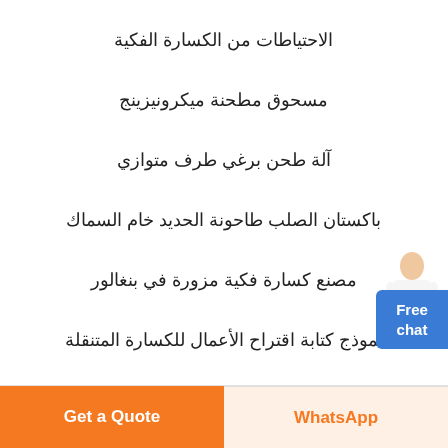الاحتياطات من الكسارة الفكية
مسحوق مطحنة ميكرونيزينج
آلة طحن برغي طرف متوازي
باكستان الصلب طاحونة الحديد خام السماك
مصنع كسارة فكية مزورة في بنغالور
نموذج كتابة اقتراح الأعمال للكسارة المتنقلة
[Figure (illustration): Woman in white blouse with Free chat button overlay]
Get a Quote | WhatsApp